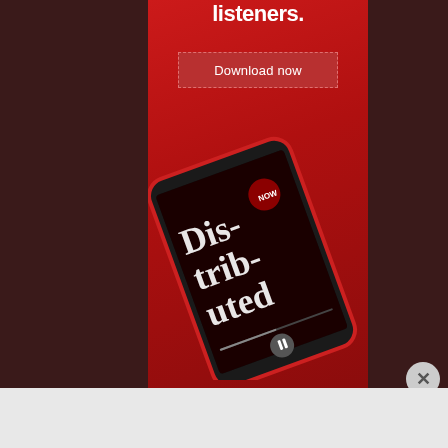[Figure (screenshot): Mobile app advertisement on red background showing a podcast app playing 'Distributed' with a smartphone mockup]
listeners.
Download now
Advertisements
[Figure (infographic): WordPress ad banner: Opinions. We all have them! with WordPress and another logo]